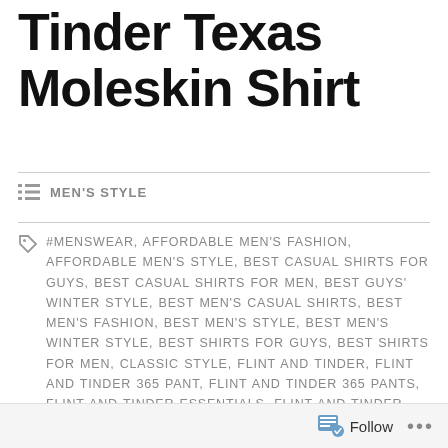Flint and Tinder Texas Moleskin Shirt
MEN'S STYLE
#MENSWEAR, AFFORDABLE MEN'S FASHION, AFFORDABLE MEN'S STYLE, BEST CASUAL SHIRTS FOR GUYS, BEST CASUAL SHIRTS FOR MEN, BEST GUYS' WINTER STYLE, BEST MEN'S CASUAL SHIRTS, BEST MEN'S FASHION, BEST MEN'S STYLE, BEST MEN'S WINTER STYLE, BEST SHIRTS FOR GUYS, BEST SHIRTS FOR MEN, CLASSIC STYLE, FLINT AND TINDER, FLINT AND TINDER 365 PANT, FLINT AND TINDER 365 PANTS, FLINT AND TINDER ESSENTIALS, FLINT AND TINDER REVIEW, FLINT AND TINDER SHIRTING, FLINT AND TINDER TEXAS MOLESKIN SHIRT, HERITAGE STYLE, HUCKBERRY REVIEW, MEN'S CASUAL SHIRTS, MEN'S FASHION, MEN'S STYLE
Follow